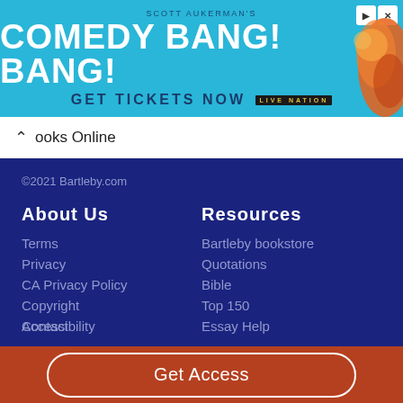[Figure (illustration): Advertisement banner for Scott Aukerman's Comedy Bang! Bang! tour with 'GET TICKETS NOW' and Live Nation branding, with a cartoon character on the right side. Controls (play and close) in top right.]
ooks Online
©2021 Bartleby.com
About Us
Resources
Terms
Bartleby bookstore
Privacy
Quotations
CA Privacy Policy
Bible
Copyright
Top 150
Contact
Essay Help
Accessibility
Get Access